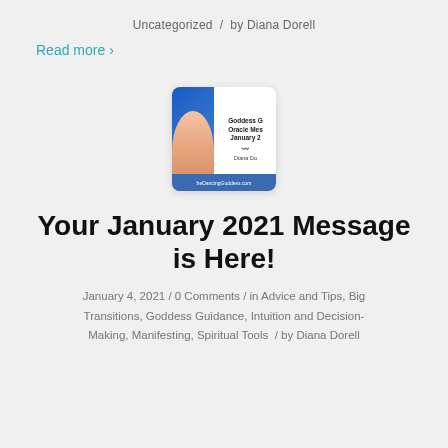Uncategorized  /  by Diana Dorell
Read more ›
[Figure (photo): Thumbnail image for 'Your January 2021 Message is Here!' showing a woman in blue clothing beside text: Goddess G Oracle Mes January 2 Diana Do, with TheDancingGoddess.com at the bottom]
Your January 2021 Message is Here!
January 4, 2021 / 0 Comments / in Advice and Tips, Big Transitions, Goddess Guidance, Intuition and Decision-Making, Manifesting, Spiritual Tools  / by Diana Dorell